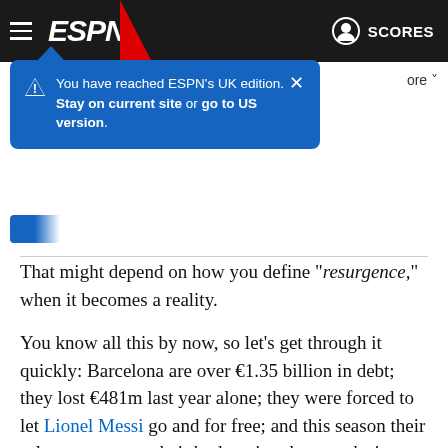[Figure (screenshot): ESPN website header with dark background, ESPN logo in white italic bold text, hamburger menu icon, red chevron accent, user icon and SCORES text on right]
You have reached ESPN's UK edition. Stay on current site or go to US version.
That might depend on how you define "resurgence," when it becomes a reality.
You know all this by now, so let's get through it quickly: Barcelona are over €1.35 billion in debt; they lost €481m last year alone; they were forced to let Lionel Messi go and for free; and this season their salary-cap space, their budget, in other words, is €97.7m. That's an eighth the size of Real Madrid's and lower than Real Sociedad's, Athletic Club's and Villarreal's. Let's not even look at England, where a team like Watford has as much muscle. And so the inevitable, recurring question was asked: How? How could they sign Haaland?